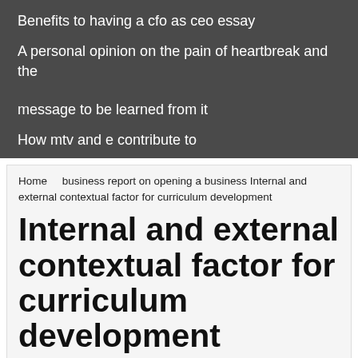Benefits to having a cfo as ceo essay
A personal opinion on the pain of heartbreak and the message to be learned from it
How mtv and e contribute to
Home    business report on opening a business Internal and external contextual factor for curriculum development
Internal and external contextual factor for curriculum development
The development of any new program has to be financed